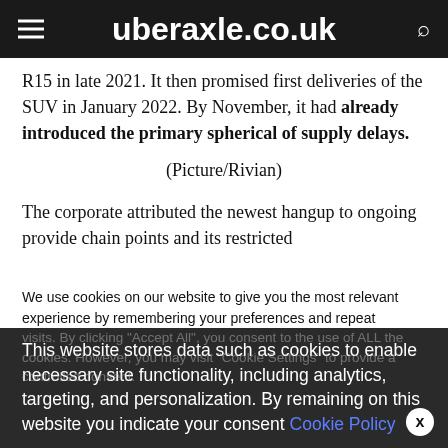uberaxle.co.uk
R15 in late 2021. It then promised first deliveries of the SUV in January 2022. By November, it had already introduced the primary spherical of supply delays.
(Picture/Rivian)
The corporate attributed the newest hangup to ongoing provide chain points and its restricted
We use cookies on our website to give you the most relevant experience by remembering your preferences and repeat visits. By clicking "Accept All", you consent to the use of ALL the cookies. However, you may visit "Cookie Settings" to provide a controlled consent.
This website stores data such as cookies to enable necessary site functionality, including analytics, targeting, and personalization. By remaining on this website you indicate your consent Cookie Policy